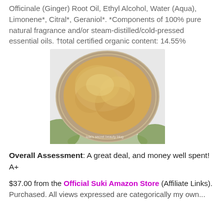Officinale (Ginger) Root Oil, Ethyl Alcohol, Water (Aqua), Limonene*, Citral*, Geraniol*. *Components of 100% pure natural fragrance and/or steam-distilled/cold-pressed essential oils. †total certified organic content: 14.55%
[Figure (photo): Top-down view of an open glass jar containing golden/amber sugar scrub product, with a watermark reading 'lola's secret beauty blog']
Overall Assessment: A great deal, and money well spent! A+
$37.00 from the Official Suki Amazon Store (Affiliate Links).
Purchased. All views expressed are categorically my own...